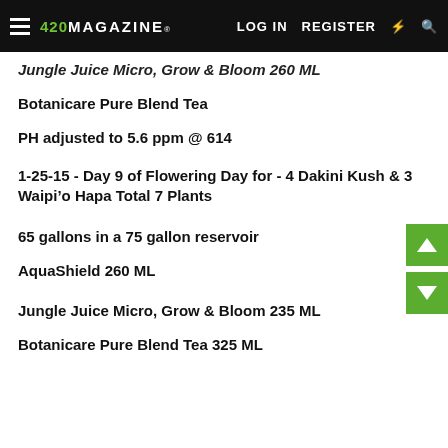420 MAGAZINE® | LOG IN | REGISTER
Jungle Juice Micro, Grow & Bloom 260 ML
Botanicare Pure Blend Tea
PH adjusted to 5.6 ppm @ 614
1-25-15 - Day 9 of Flowering Day for - 4 Dakini Kush & 3 Waipi'o Hapa Total 7 Plants
65 gallons in a 75 gallon reservoir
AquaShield 260 ML
Jungle Juice Micro, Grow & Bloom 235 ML
Botanicare Pure Blend Tea 325 ML